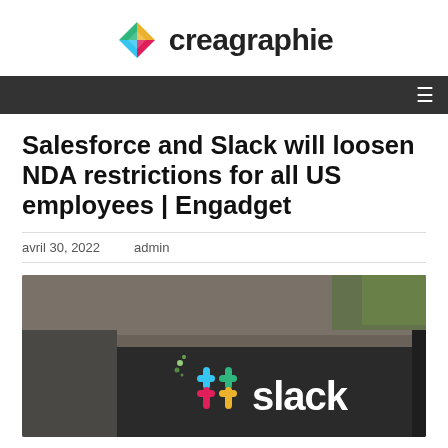creagraphie
Salesforce and Slack will loosen NDA restrictions for all US employees | Engadget
avril 30, 2022   admin
[Figure (photo): Outdoor photo of a Slack logo sign on a dark building facade, with a cyclist and trees visible in the background. The Slack logo (colorful hashtag-like icon) and the word 'slack' in white text are prominently displayed.]